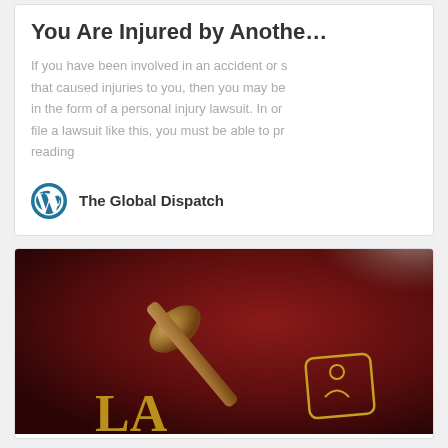You Are Injured by Anothe…
If you have been involved in an accident or s… that caused injuries to you, then you may be… in the form of a personal injury lawsuit. In or… file a lawsuit like this, you must be able to pr… reading
The Global Dispatch
[Figure (photo): Photo of a wooden judge's gavel resting on a dark red law book with gold lettering 'LA' visible and a legal emblem on the cover.]